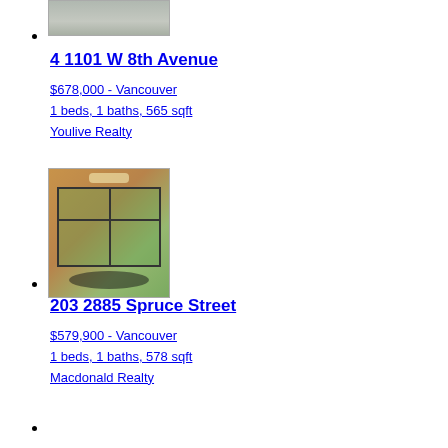[Figure (photo): Exterior photo of property, partially visible at top of page]
4 1101 W 8th Avenue
$678,000 - Vancouver
1 beds, 1 baths, 565 sqft
Youlive Realty
[Figure (photo): Interior photo showing a dining area with chandelier, large windows, wood-paneled walls, and chairs around a glass table]
203 2885 Spruce Street
$579,900 - Vancouver
1 beds, 1 baths, 578 sqft
Macdonald Realty